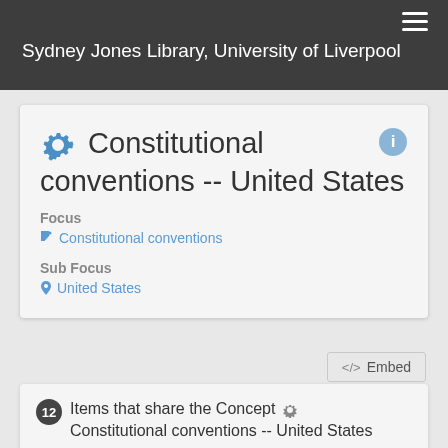Sydney Jones Library, University of Liverpool
Constitutional conventions -- United States
Focus
Constitutional conventions
Sub Focus
United States
</> Embed
12 Items that share the Concept Constitutional conventions -- United States